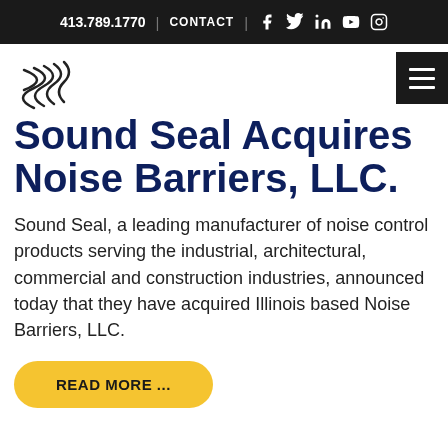413.789.1770 | CONTACT | [social icons: Facebook, Twitter, LinkedIn, YouTube, Instagram]
[Figure (logo): Sound Seal logo — stylized S with concentric curves]
Sound Seal Acquires Noise Barriers, LLC.
Sound Seal, a leading manufacturer of noise control products serving the industrial, architectural, commercial and construction industries, announced today that they have acquired Illinois based Noise Barriers, LLC.
READ MORE ...